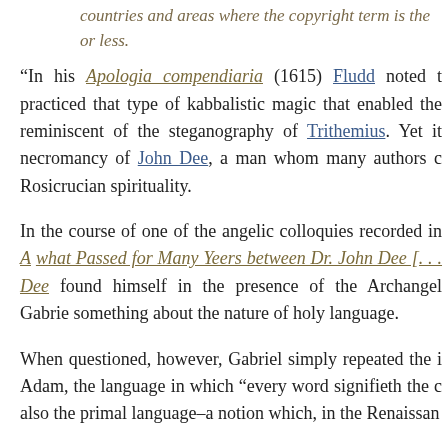countries and areas where the copyright term is the or less.
“In his Apologia compendiaria (1615) Fludd noted practiced that type of kabbalistic magic that enabled the reminiscent of the steganography of Trithemius. Yet it necromancy of John Dee, a man whom many authors c Rosicrucian spirituality.
In the course of one of the angelic colloquies recorded in A what Passed for Many Yeers between Dr. John Dee [.... Dee found himself in the presence of the Archangel Gabrie something about the nature of holy language.
When questioned, however, Gabriel simply repeated the i Adam, the language in which “every word signifieth the c also the primal language–a notion which, in the Renaissan
After this, in fact, the text continues, for page after page between the names of angels, numbers and secrets of the another example of the pseudo-Hebraic formulae which Renaissance magus.